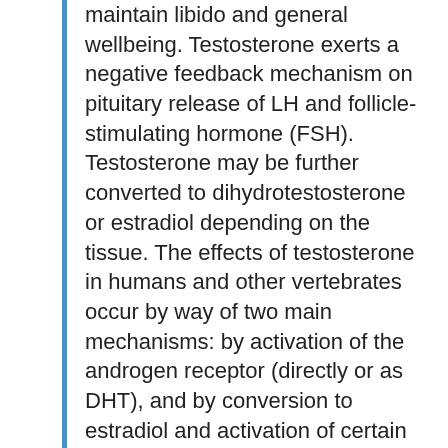maintain libido and general wellbeing. Testosterone exerts a negative feedback mechanism on pituitary release of LH and follicle-stimulating hormone (FSH). Testosterone may be further converted to dihydrotestosterone or estradiol depending on the tissue. The effects of testosterone in humans and other vertebrates occur by way of two main mechanisms: by activation of the androgen receptor (directly or as DHT), and by conversion to estradiol and activation of certain estrogen receptors. Free testosterone (T) is transported into the cytoplasm of target tissue cells, where it can bind to the androgen receptor, or can be reduced to 5α-dihydrotestosterone (DHT) by the